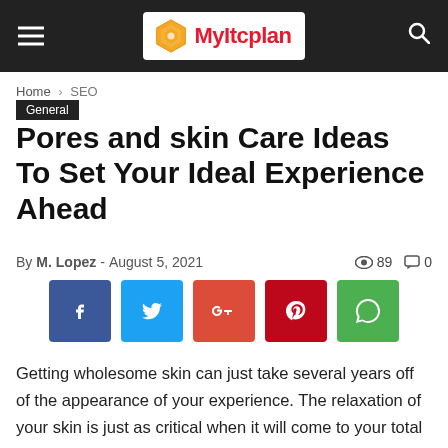MyItcplan
Home › SEO
General
Pores and skin Care Ideas To Set Your Ideal Experience Ahead
By M. Lopez - August 5, 2021 | 89 views | 0 comments
[Figure (infographic): Social share buttons: Facebook (blue), Twitter (light blue), Google+ (red-orange), Pinterest (dark red), WhatsApp (green)]
Getting wholesome skin can just take several years off of the appearance of your experience. The relaxation of your skin is just as critical when it will come to your total visual appeal. The useful advice in this write-up will help you in caring for your skin, to keep it glowing and youthful-looking, for an extended as